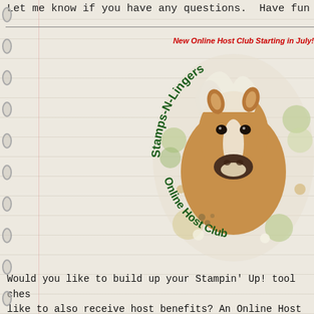Let me know if you have any questions.  Have fun maki
[Figure (logo): Circular logo with a horse (palomino/light chestnut) in the center surrounded by flowers and foliage. Green hand-drawn text around the circle reads 'Stamps-N-Lingers Online Host Club'. Red text above reads 'New Online Host Club Starting in July!']
Would you like to build up your Stampin' Up! tool ches like to also receive host benefits? An Online Host Club for you!  I've got openings in the Club starting in July Catalog AND for the 2020 Aug - Dec Mini Catalog!